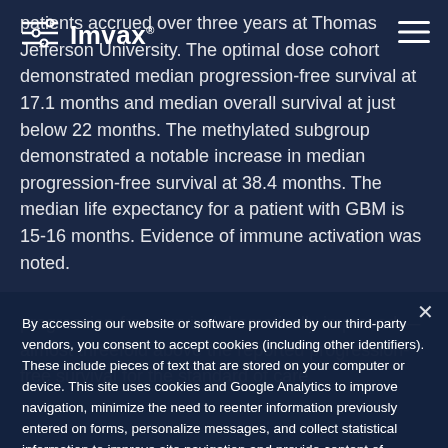Imvax
patients accrued over three years at Thomas Jefferson University. The optimal dose cohort demonstrated median progression-free survival at 17.1 months and median overall survival at just below 22 months. The methylated subgroup demonstrated a notable increase in median progression-free survival at 38.4 months. The median life expectancy for a patient with GBM is 15-16 months. Evidence of immune activation was noted.
By accessing our website or software provided by our third-party vendors, you consent to accept cookies (including other identifiers). These include pieces of text that are stored on your computer or device. This site uses cookies and Google Analytics to improve navigation, minimize the need to reenter information previously entered on forms, personalize messages, and collect statistical information to improve site navigation and provide content of greatest interest to users.
Accept